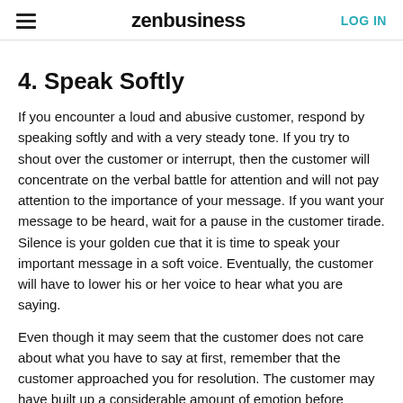zenbusiness  LOG IN
4. Speak Softly
If you encounter a loud and abusive customer, respond by speaking softly and with a very steady tone. If you try to shout over the customer or interrupt, then the customer will concentrate on the verbal battle for attention and will not pay attention to the importance of your message. If you want your message to be heard, wait for a pause in the customer tirade. Silence is your golden cue that it is time to speak your important message in a soft voice. Eventually, the customer will have to lower his or her voice to hear what you are saying.
Even though it may seem that the customer does not care about what you have to say at first, remember that the customer approached you for resolution. The customer may have built up a considerable amount of emotion before reaching you, but ultimately the customer does